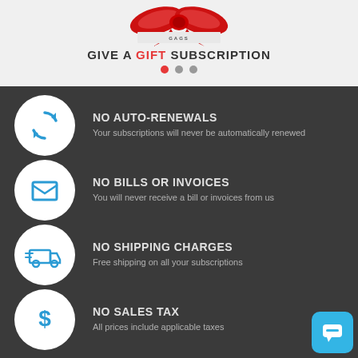[Figure (logo): Give A Gift Subscription logo with red ribbon bow and brand text GAGS]
NO AUTO-RENEWALS
Your subscriptions will never be automatically renewed
NO BILLS or INVOICES
You will never receive a bill or invoices from us
NO SHIPPING CHARGES
Free shipping on all your subscriptions
NO SALES TAX
All prices include applicable taxes